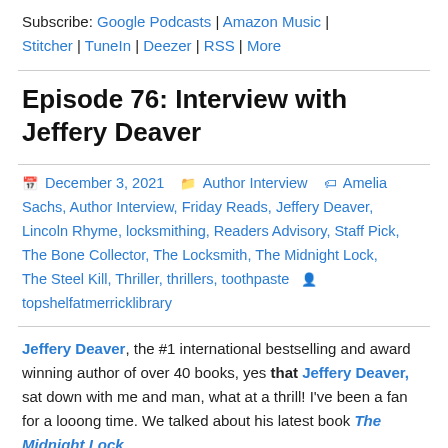Subscribe: Google Podcasts | Amazon Music | Stitcher | TuneIn | Deezer | RSS | More
Episode 76: Interview with Jeffery Deaver
December 3, 2021  Author Interview  Amelia Sachs, Author Interview, Friday Reads, Jeffery Deaver, Lincoln Rhyme, locksmithing, Readers Advisory, Staff Pick, The Bone Collector, The Locksmith, The Midnight Lock, The Steel Kill, Thriller, thrillers, toothpaste  topshelfatmerricklibrary
Jeffery Deaver, the #1 international bestselling and award winning author of over 40 books, yes that Jeffery Deaver, sat down with me and man, what at a thrill! I've been a fan for a looong time. We talked about his latest book The Midnight Lock.